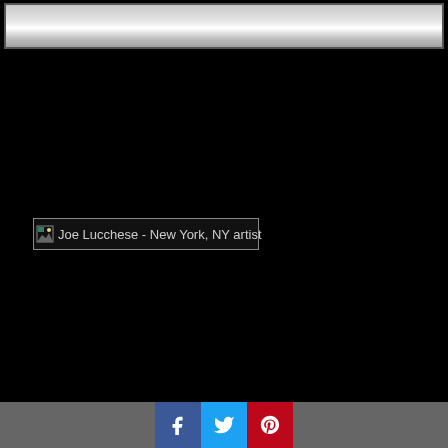[Figure (photo): Framed photo area at top — grayscale image partially visible, shown cropped]
[Figure (photo): Broken image placeholder labeled 'Joe Lucchese - New York, NY artist']
Social sharing buttons: Facebook, Twitter, Pinterest